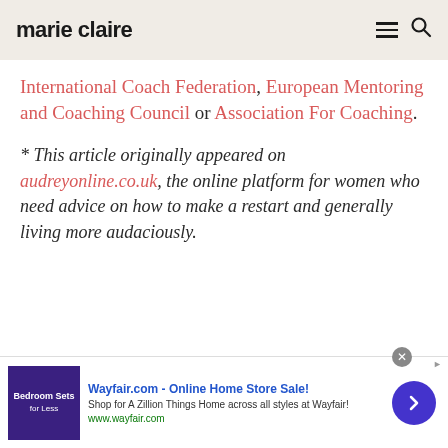marie claire
International Coach Federation, European Mentoring and Coaching Council or Association For Coaching.
* This article originally appeared on audreyonline.co.uk, the online platform for women who need advice on how to make a restart and generally living more audaciously.
[Figure (other): Wayfair online advertisement banner: 'Wayfair.com - Online Home Store Sale! Shop for A Zillion Things Home across all styles at Wayfair! www.wayfair.com' with a purple bedroom furniture image and a blue arrow button.]